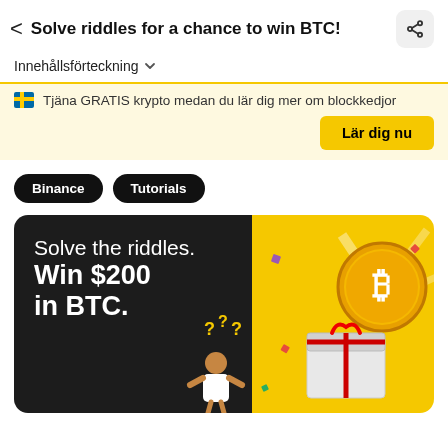Solve riddles for a chance to win BTC!
Innehållsförteckning
Tjäna GRATIS krypto medan du lär dig mer om blockkedjor
Lär dig nu
Binance
Tutorials
[Figure (illustration): Promotional banner with dark left half showing text 'Solve the riddles. Win $200 in BTC.' with a cartoon person with question marks above their head, and a golden right half showing a large Bitcoin coin and a gift box with confetti.]